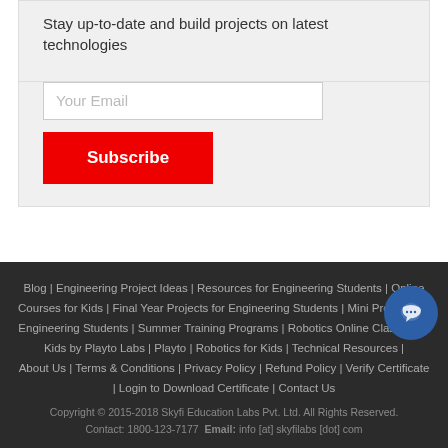Stay up-to-date and build projects on latest technologies
[Figure (other): Email input field with placeholder 'Your Email' and a red Subscribe button]
Blog | Engineering Project Ideas | Resources for Engineering Students | Online Courses for Kids | Final Year Projects for Engineering Students | Mini Projects for Engineering Students | Summer Training Programs | Robotics Online Classes for Kids by Playto Labs | Playto | Robotics for Kids | Technical Resources | About Us | Terms & Conditions | Privacy Policy | Refund Policy | Verify Certificate | Login to Download Certificate | Contact Us
Copyright © 2015-2018 Skyfi Education Labs Pvt. Ltd. All Rights Reserved.
Contact: 1800-123-7177 Email: info [at] skyfilabs [dot] com